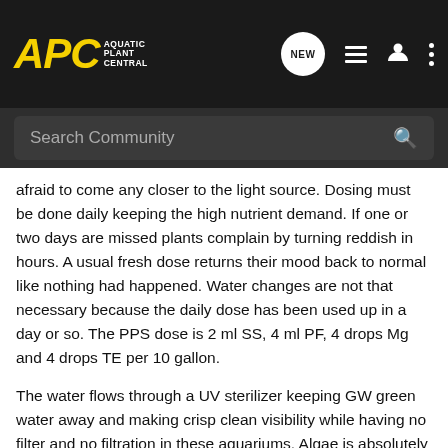[Figure (screenshot): APC Aquatic Plant Central website header with logo, NEW chat bubble icon, list icon, user icon, and three-dots menu icon on dark background]
[Figure (screenshot): Search Community search bar on dark background]
afraid to come any closer to the light source. Dosing must be done daily keeping the high nutrient demand. If one or two days are missed plants complain by turning reddish in hours. A usual fresh dose returns their mood back to normal like nothing had happened. Water changes are not that necessary because the daily dose has been used up in a day or so. The PPS dose is 2 ml SS, 4 ml PF, 4 drops Mg and 4 drops TE per 10 gallon.
The water flows through a UV sterilizer keeping GW green water away and making crisp clean visibility while having no filter and no filtration in these aquariums. Algae is absolutely 100% non existing.
Thank you
Edward